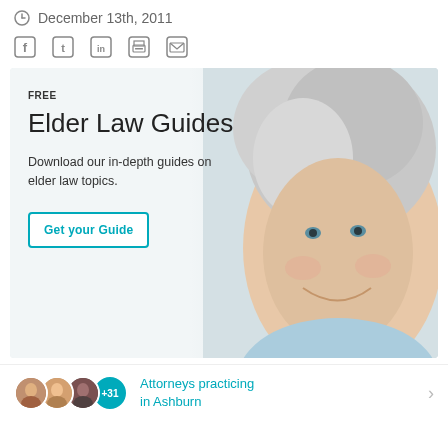December 13th, 2011
[Figure (other): Social media sharing icons: Facebook, Twitter, LinkedIn, Print, Email]
[Figure (infographic): Advertisement banner for Free Elder Law Guides. Shows elderly woman smiling. Text: FREE, Elder Law Guides, Download our in-depth guides on elder law topics. Button: Get your Guide]
Attorneys practicing in Ashburn